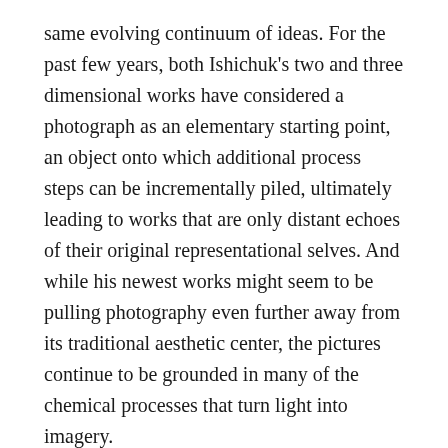same evolving continuum of ideas. For the past few years, both Ishichuk's two and three dimensional works have considered a photograph as an elementary starting point, an object onto which additional process steps can be incrementally piled, ultimately leading to works that are only distant echoes of their original representational selves. And while his newest works might seem to be pulling photography even further away from its traditional aesthetic center, the pictures continue to be grounded in many of the chemical processes that turn light into imagery.

In his Sedimentation series, Ishchuk starts with a black and white photograph and then uses a series of overpainting steps to iteratively obscure the original, like the thin layers of dirt the title implies. In some works,